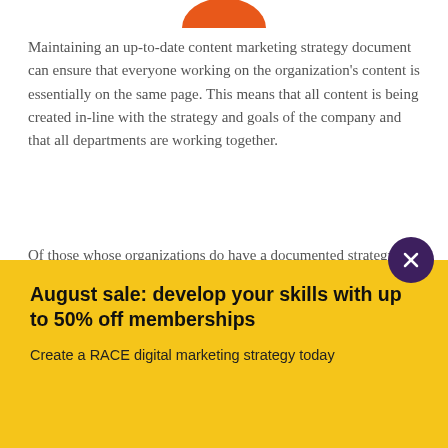[Figure (logo): Orange semi-circle logo at top center]
Maintaining an up-to-date content marketing strategy document can ensure that everyone working on the organization's content is essentially on the same page. This means that all content is being created in-line with the strategy and goals of the company and that all departments are working together.
Of those whose organizations do have a documented strategy, 94% say that it includes the business' goals and objectives, while 79% state their strategy includes defined roles and responsibilities. Other elements included in strategy documents include measurements and KPs (76%), desired outcomes (72%), defined workflows (71%), timeframes (62%), content governance specifications (5...
August sale: develop your skills with up to 50% off memberships
Create a RACE digital marketing strategy today